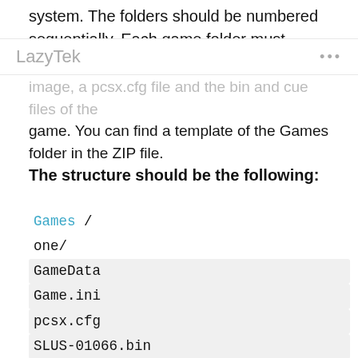system. The folders should be numbered sequentially. Each game folder must contain a
LazyTek   ...
image, a pcsx.cfg file and the bin and cue files of the game. You can find a template of the Games folder in the ZIP file.
The structure should be the following:
Games /
one/
GameData
Game.ini
pcsx.cfg
SLUS-01066.bin
SLUS-01066.cue
SLUS-01066.png
two/